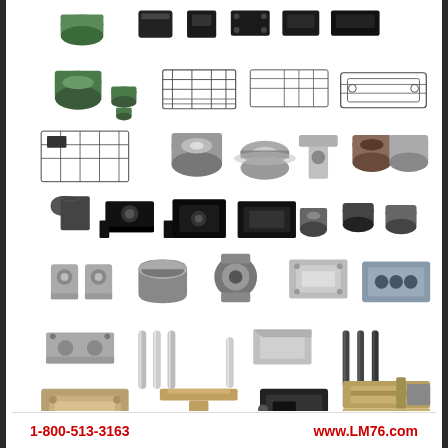[Figure (photo): Product catalog collage showing various linear motion components and bearings: cylindrical bushings, linear bearing blocks, rail assemblies, shaft support blocks, linear slides, shafts, positioning stages, and actuators arranged in a grid of product photos.]
1-800-513-3163    www.LM76.com